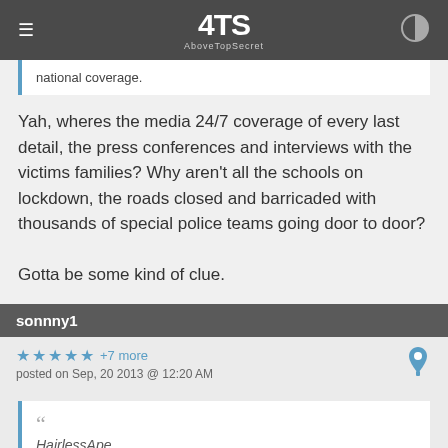ATS AboveTopSecret
national coverage.
Yah, wheres the media 24/7 coverage of every last detail, the press conferences and interviews with the victims families? Why aren't all the schools on lockdown, the roads closed and barricaded with thousands of special police teams going door to door?

Gotta be some kind of clue.
sonnny1
★ ★ ★ ★ ★ +7 more
posted on Sep, 20 2013 @ 12:20 AM
HairlessApe
reply to post by goou111